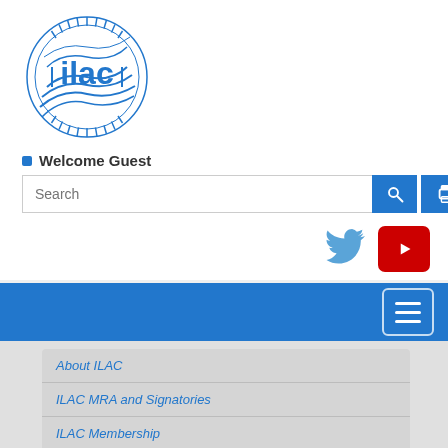[Figure (logo): ILAC circular logo with radiating lines and wave patterns in blue]
Welcome Guest
[Figure (screenshot): Search bar with blue search button and blue print button]
[Figure (screenshot): Twitter bird icon and YouTube play button icon]
[Figure (screenshot): Blue navigation bar with hamburger menu icon]
About ILAC
ILAC MRA and Signatories
ILAC Membership
Publications and Resources
News and Events